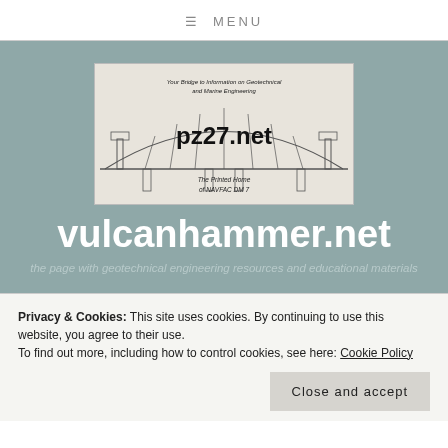≡ MENU
[Figure (illustration): Website banner for pz27.net showing a bridge engineering diagram with text 'Your Bridge to Information on Geotechnical and Marine Engineering', 'pz27.net', and 'The Printed Home of NAVFAC DM 7']
vulcanhammer.net
the page with geotechnical engineering resources and educational materials
Privacy & Cookies: This site uses cookies. By continuing to use this website, you agree to their use.
To find out more, including how to control cookies, see here: Cookie Policy
Close and accept